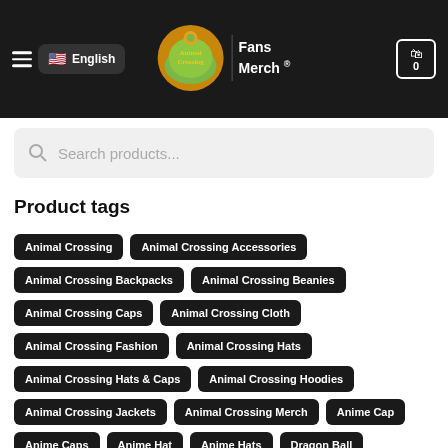Animal Crossing Fans Merch — English
Search products...
Product tags
Animal Crossing
Animal Crossing Accessories
Animal Crossing Backpacks
Animal Crossing Beanies
Animal Crossing Caps
Animal Crossing Cloth
Animal Crossing Fashion
Animal Crossing Hats
Animal Crossing Hats & Caps
Animal Crossing Hoodies
Animal Crossing Jackets
Animal Crossing Merch
Anime Cap
Anime Caps
Anime Hat
Anime Hats
Dragon Ball
Dragon Ball Cap
Haikyuu
Haikyuu Cap